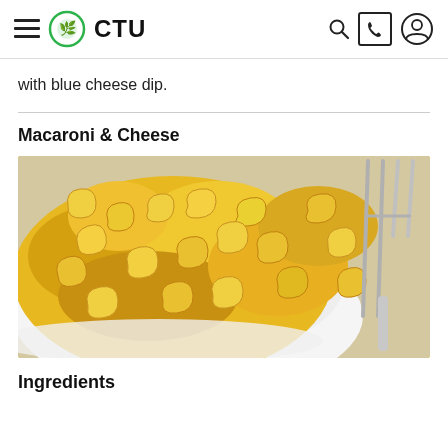CTU
with blue cheese dip.
Macaroni & Cheese
[Figure (photo): Close-up photo of macaroni and cheese in a white bowl with a fork visible in the background]
Ingredients